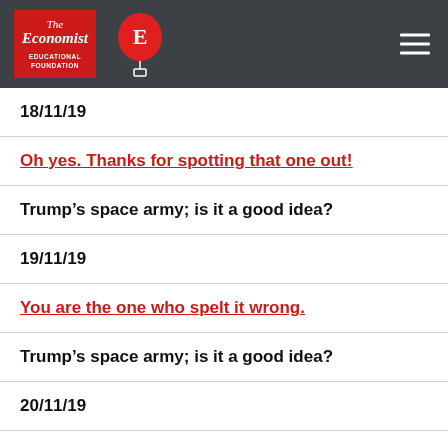The Economist Educational Foundation
18/11/19
Oh yes. Thanks for spotting that one out!
Trump's space army; is it a good idea?
19/11/19
You are the one who spelt it wrong.
Trump's space army; is it a good idea?
20/11/19
I don't know. Maybe he just wants space to